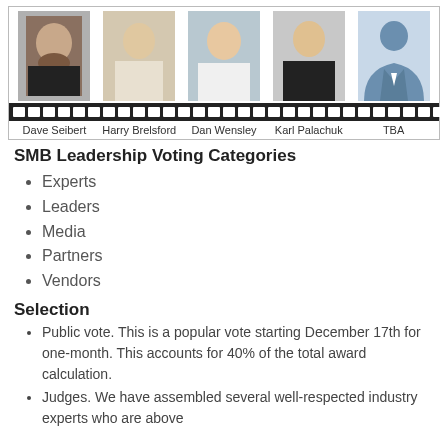[Figure (photo): Film strip showing headshots of five people: Dave Seibert, Harry Brelsford, Dan Wensley, Karl Palachuk, and TBA (silhouette placeholder)]
Dave Seibert   Harry Brelsford   Dan Wensley   Karl Palachuk   TBA
SMB Leadership Voting Categories
Experts
Leaders
Media
Partners
Vendors
Selection
Public vote. This is a popular vote starting December 17th for one-month. This accounts for 40% of the total award calculation.
Judges. We have assembled several well-respected industry experts who are above